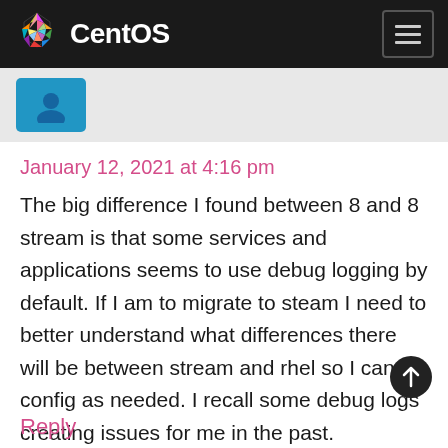CentOS
January 12, 2021 at 4:16 pm
The big difference I found between 8 and 8 stream is that some services and applications seems to use debug logging by default. If I am to migrate to steam I need to better understand what differences there will be between stream and rhel so I can config as needed. I recall some debug logs creating issues for me in the past.
Reply